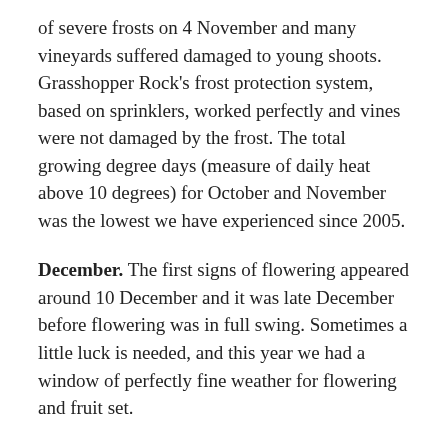of severe frosts on 4 November and many vineyards suffered damaged to young shoots. Grasshopper Rock's frost protection system, based on sprinklers, worked perfectly and vines were not damaged by the frost. The total growing degree days (measure of daily heat above 10 degrees) for October and November was the lowest we have experienced since 2005.
December. The first signs of flowering appeared around 10 December and it was late December before flowering was in full swing. Sometimes a little luck is needed, and this year we had a window of perfectly fine weather for flowering and fruit set.
February-March. On 13 Feb we noticed the first sign of veraison and by 3 March we were well through colour change. Late ripening bunches were removed following veraison to lighten the crop load and maximise ripeness in